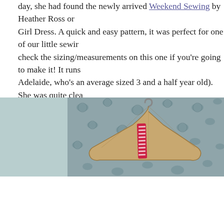day, she had found the newly arrived Weekend Sewing by Heather Ross on Girl Dress. A quick and easy pattern, it was perfect for one of our little sewir check the sizing/measurements on this one if you're going to make it! It runs Adelaide, who's an average sized 3 and a half year old). She was quite clea Anna Maria Horner's Good Folks line (she has good taste - I loooove that fa
[Figure (photo): A wooden clothes hanger with a red and white patterned ribbon or tape measure draped over it, resting on a floral blue and white fabric background. The left side shows a muted teal/grey plain area.]